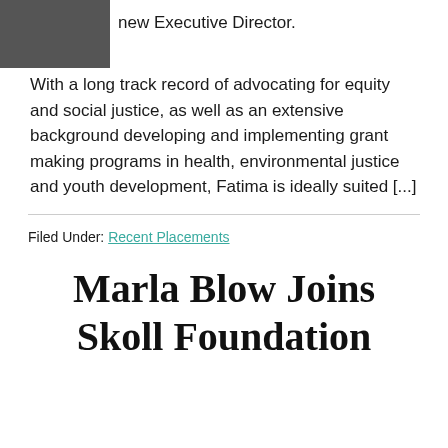[Figure (photo): Partial photo of a person in dark clothing, cropped at top of page]
new Executive Director.
With a long track record of advocating for equity and social justice, as well as an extensive background developing and implementing grant making programs in health, environmental justice and youth development, Fatima is ideally suited [...]
Filed Under: Recent Placements
Marla Blow Joins Skoll Foundation